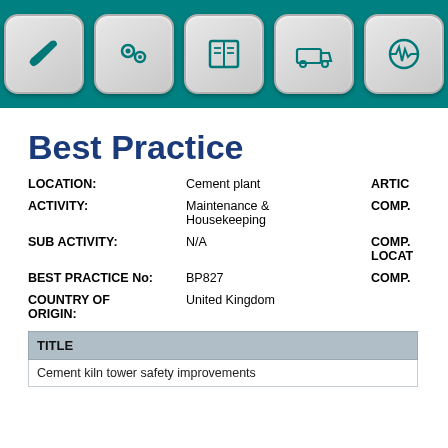[Figure (screenshot): Navigation icon bar with 7 rounded square buttons on a teal background, each containing a teal icon: a road/route, a wrench, gears, a book, a truck, a heartbeat/waveform, and a hard-hat worker]
Best Practice
LOCATION: Cement plant  ARTIC...
ACTIVITY: Maintenance & Housekeeping  COMP...
SUB ACTIVITY: N/A  COMP... LOCAT...
BEST PRACTICE No: BP827  COMP...
COUNTRY OF ORIGIN: United Kingdom
| TITLE |
| --- |
| Cement kiln tower safety improvements |